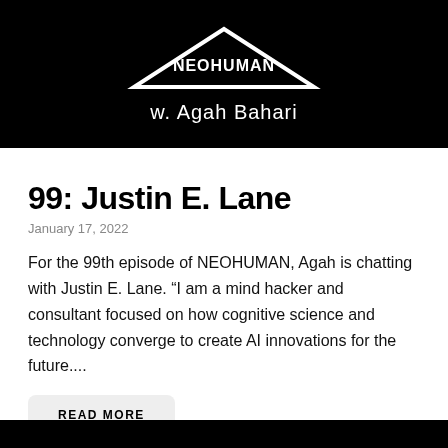[Figure (logo): NEOHUMAN podcast logo with triangle shape on black background and text 'w. Agah Bahari' below]
99: Justin E. Lane
January 17, 2022
For the 99th episode of NEOHUMAN, Agah is chatting with Justin E. Lane. “I am a mind hacker and consultant focused on how cognitive science and technology converge to create AI innovations for the future....
READ MORE
[Figure (photo): Bottom black bar, partial image at bottom of page]